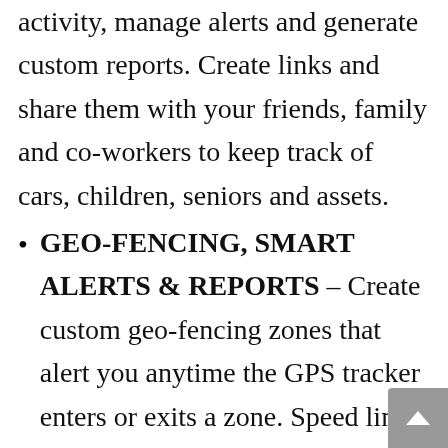activity, manage alerts and generate custom reports. Create links and share them with your friends, family and co-workers to keep track of cars, children, seniors and assets.
GEO-FENCING, SMART ALERTS & REPORTS – Create custom geo-fencing zones that alert you anytime the GPS tracker enters or exits a zone. Speed limit, harsh breaking, start/stop and proximity alerts allow you to easily track your vehicles and loved ones. Receive text, push and email notifications directly to your